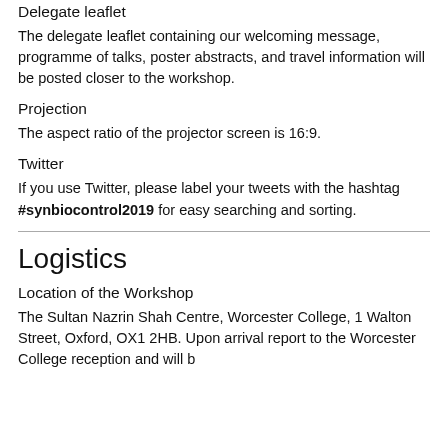Delegate leaflet
The delegate leaflet containing our welcoming message, programme of talks, poster abstracts, and travel information will be posted closer to the workshop.
Projection
The aspect ratio of the projector screen is 16:9.
Twitter
If you use Twitter, please label your tweets with the hashtag #synbiocontrol2019 for easy searching and sorting.
Logistics
Location of the Workshop
The Sultan Nazrin Shah Centre, Worcester College, 1 Walton Street, Oxford, OX1 2HB. Upon arrival report to the Worcester College...